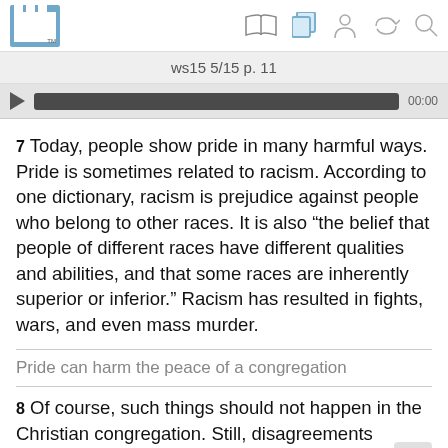ws15 5/15 p. 11
7 Today, people show pride in many harmful ways. Pride is sometimes related to racism. According to one dictionary, racism is prejudice against people who belong to other races. It is also “the belief that people of different races have different qualities and abilities, and that some races are inherently superior or inferior.” Racism has resulted in fights, wars, and even mass murder.
Pride can harm the peace of a congregation
8 Of course, such things should not happen in the Christian congregation. Still, disagreements between